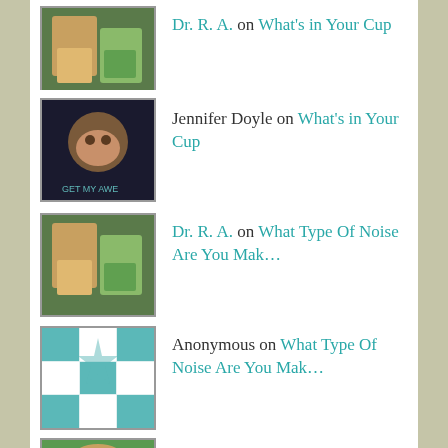Dr. R. A. on What's in Your Cup
Jennifer Doyle on What's in Your Cup
Dr. R. A. on What Type Of Noise Are You Mak…
Anonymous on What Type Of Noise Are You Mak…
Ilene on Get out of the Boat
No Instagram images were found.